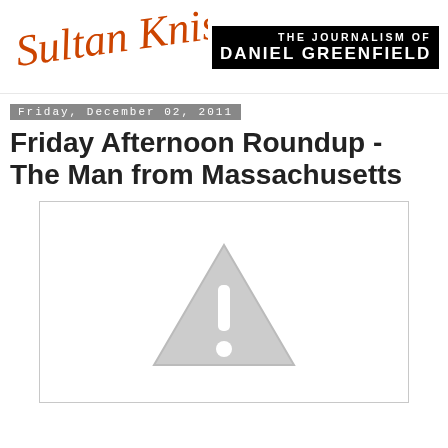Sultan Knish — The Journalism of Daniel Greenfield
Friday, December 02, 2011
Friday Afternoon Roundup - The Man from Massachusetts
[Figure (illustration): Broken image placeholder: white rectangle with light grey border containing a grey triangle warning icon with exclamation mark]